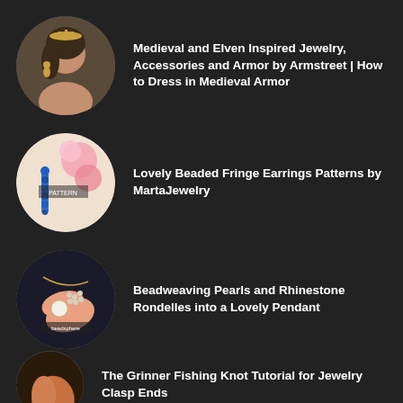Medieval and Elven Inspired Jewelry, Accessories and Armor by Armstreet | How to Dress in Medieval Armor
Lovely Beaded Fringe Earrings Patterns by MartaJewelry
Beadweaving Pearls and Rhinestone Rondelles into a Lovely Pendant
The Grinner Fishing Knot Tutorial for Jewelry Clasp Ends